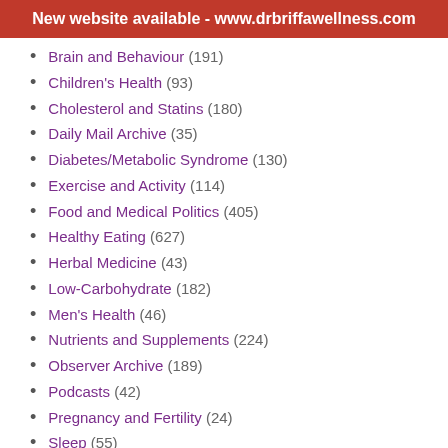New website available - www.drbriffawellness.com
Brain and Behaviour (191)
Children's Health (93)
Cholesterol and Statins (180)
Daily Mail Archive (35)
Diabetes/Metabolic Syndrome (130)
Exercise and Activity (114)
Food and Medical Politics (405)
Healthy Eating (627)
Herbal Medicine (43)
Low-Carbohydrate (182)
Men's Health (46)
Nutrients and Supplements (224)
Observer Archive (189)
Podcasts (42)
Pregnancy and Fertility (24)
Sleep (55)
Specific conditions (215)
Stress (5)